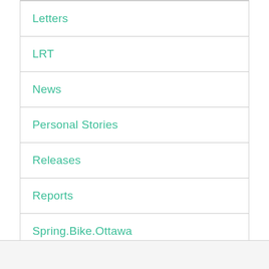Letters
LRT
News
Personal Stories
Releases
Reports
Spring.Bike.Ottawa
Uncategorized
Winter Cycling